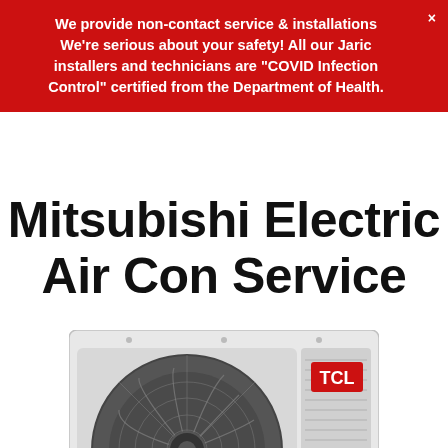We provide non-contact service & installations We're serious about your safety! All our Jaric installers and technicians are "COVID Infection Control" certified from the Department of Health.
Mitsubishi Electric Air Con Service
[Figure (photo): Outdoor air conditioning unit (TCL brand) with circular fan grille visible, white casing with louvred panel on right side bearing red TCL logo, copper pipe connectors at bottom right.]